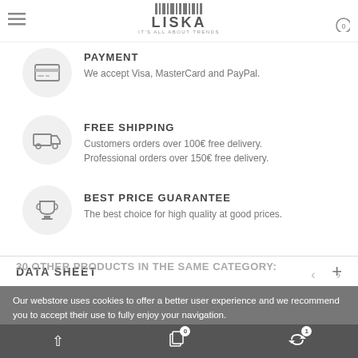LISKA — IT'S ALL ABOUT TRENDS
PAYMENT
We accept Visa, MasterCard and PayPal.
FREE SHIPPING
Customers orders over 100€ free delivery.
Professional orders over 150€ free delivery.
BEST PRICE GUARANTEE
The best choice for high quality at good prices.
DATA SHEET
Our webstore uses cookies to offer a better user experience and we recommend you to accept their use to fully enjoy your navigation.
More information   customize cookies
30 OTHER PRODUCTS IN THE SAME CATEGORY: